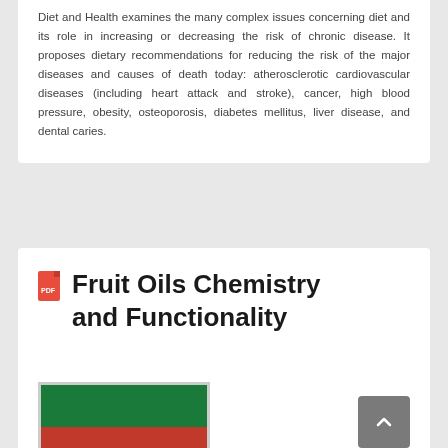Diet and Health examines the many complex issues concerning diet and its role in increasing or decreasing the risk of chronic disease. It proposes dietary recommendations for reducing the risk of the major diseases and causes of death today: atherosclerotic cardiovascular diseases (including heart attack and stroke), cancer, high blood pressure, obesity, osteoporosis, diabetes mellitus, liver disease, and dental caries.
Fruit Oils Chemistry and Functionality